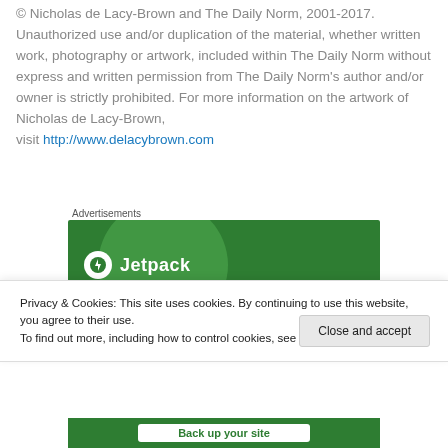© Nicholas de Lacy-Brown and The Daily Norm, 2001-2017. Unauthorized use and/or duplication of the material, whether written work, photography or artwork, included within The Daily Norm without express and written permission from The Daily Norm's author and/or owner is strictly prohibited. For more information on the artwork of Nicholas de Lacy-Brown, visit http://www.delacybrown.com
Advertisements
[Figure (other): Jetpack advertisement banner with green background and Jetpack logo]
Privacy & Cookies: This site uses cookies. By continuing to use this website, you agree to their use.
To find out more, including how to control cookies, see here: Cookie Policy
Close and accept
[Figure (other): Partial green banner at bottom showing 'Back up your site' text]